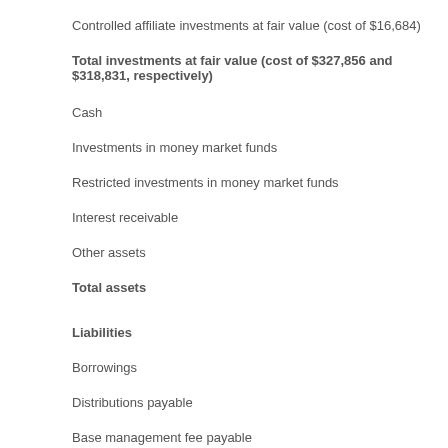Controlled affiliate investments at fair value (cost of $16,684)
Total investments at fair value (cost of $327,856 and $318,831, respectively)
Cash
Investments in money market funds
Restricted investments in money market funds
Interest receivable
Other assets
Total assets
Liabilities
Borrowings
Distributions payable
Base management fee payable
Incentive fee payable